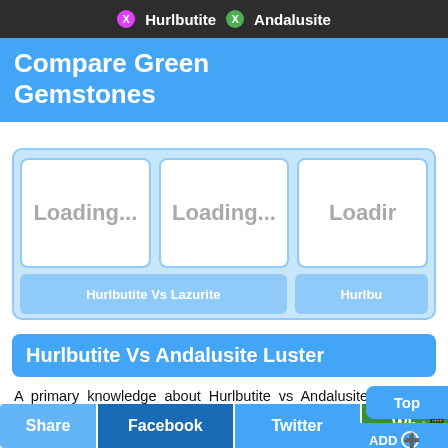Hurlbutite  Andalusite
Compare Green Gemstones
[Figure (screenshot): Three loading card placeholders labeled 'Loading...' in a row, with labels 'Hurlbutite Vs Lazurite' and 'Hurlbu...' below]
Hurlbutite Vs Andalusite Luster
A primary knowledge about Hurlbutite vs Andalusite luster is useful in apparent identifications of these gemstones. Luster is the measure of light that gets reflected when incident on a finished cut gemstone. There are two major types of lusters: Silky and Adamantine. Since luster varies between two crystals of even the same gemstone, luster is limited to basic identification criteria. Hurlbutite
Share  Facebook  Twitter  Wh